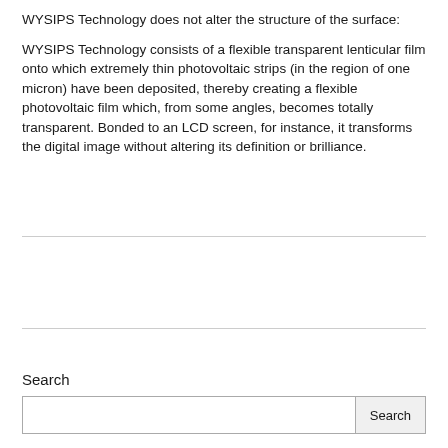WYSIPS Technology does not alter the structure of the surface:
WYSIPS Technology consists of a flexible transparent lenticular film onto which extremely thin photovoltaic strips (in the region of one micron) have been deposited, thereby creating a flexible photovoltaic film which, from some angles, becomes totally transparent. Bonded to an LCD screen, for instance, it transforms the digital image without altering its definition or brilliance.
Search